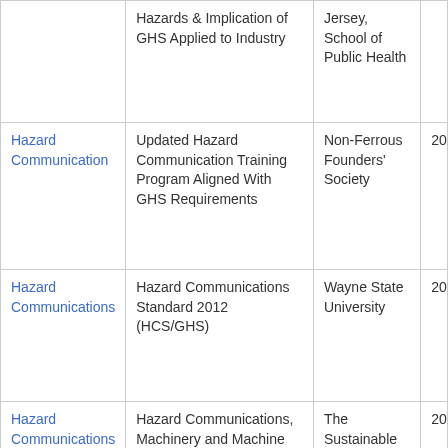|  | Hazards & Implication of GHS Applied to Industry | Jersey, School of Public Health |  |
| Hazard Communication | Updated Hazard Communication Training Program Aligned With GHS Requirements | Non-Ferrous Founders' Society | 201 |
| Hazard Communications | Hazard Communications Standard 2012 (HCS/GHS) | Wayne State University | 201 |
| Hazard Communications | Hazard Communications, Machinery and Machine Guarding, Respiratory Hazards | The Sustainable Workplace Alliance | 201 |